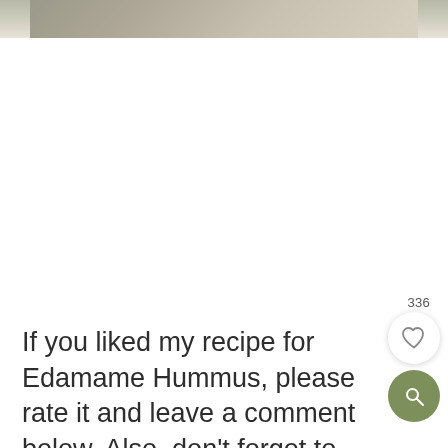[Figure (photo): Top portion of a food photo (Edamame Hummus), partially visible at the top of the page]
336
If you liked my recipe for Edamame Hummus, please rate it and leave a comment below. Also, don't forget to follow me on Youtube, Pinterest,